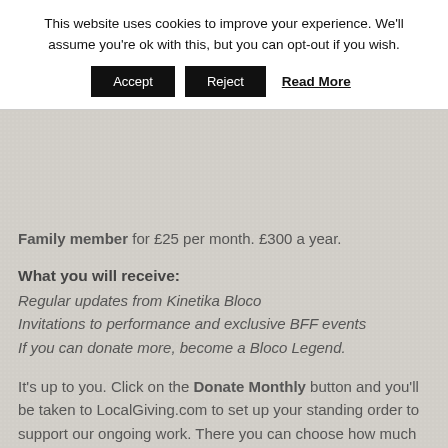This website uses cookies to improve your experience. We'll assume you're ok with this, but you can opt-out if you wish.
Family member for £25 per month. £300 a year.
What you will receive:
Regular updates from Kinetika Bloco
Invitations to performance and exclusive BFF events
If you can donate more, become a Bloco Legend.
It's up to you. Click on the Donate Monthly button and you'll be taken to LocalGiving.com to set up your standing order to support our ongoing work. There you can choose how much you'd like to donate.
[Figure (other): Donate Monthly button with LocalGiving logo in blue rounded rectangle]